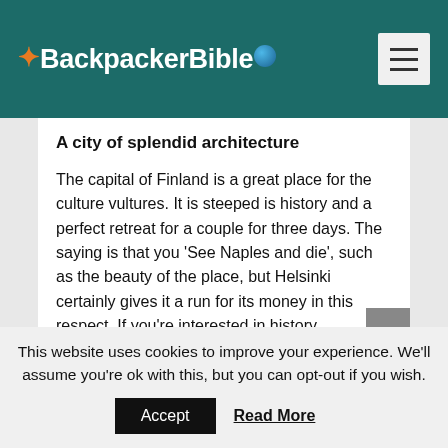Backpacker Bible
A city of splendid architecture
The capital of Finland is a great place for the culture vultures. It is steeped is history and a perfect retreat for a couple for three days. The saying is that you ‘See Naples and die’, such as the beauty of the place, but Helsinki certainly gives it a run for its money in this respect. If you’re interested in history, architecture, culture or a mixture of all three, this should be a high
This website uses cookies to improve your experience. We'll assume you're ok with this, but you can opt-out if you wish.